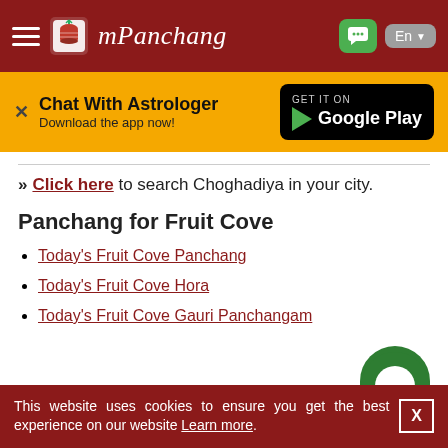mPanchang
[Figure (screenshot): mPanchang website header with hamburger menu, logo, brand name, chat button, and language selector (En)]
[Figure (infographic): Yellow banner: Chat With Astrologer - Download the app now! with Google Play button]
» Click here to search Choghadiya in your city.
Panchang for Fruit Cove
Today's Fruit Cove Panchang
Today's Fruit Cove Hora
Today's Fruit Cove Gauri Panchangam
This website uses cookies to ensure you get the best experience on our website Learn more.